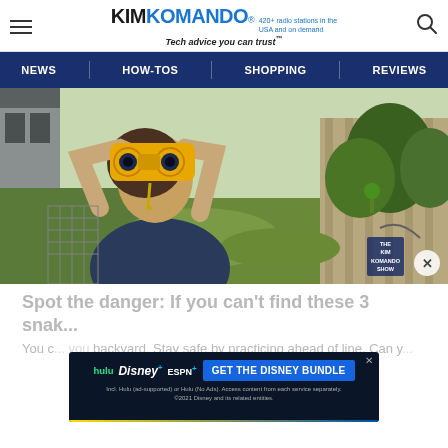KIMKOMANDO® 420+ radio stations in the USA and on demand | Tech advice you can trust™
NEWS | HOW-TOS | SHOPPING | REVIEWS
[Figure (photo): Person looking through yellow binoculars in a backyard with green lawn, wooden fence, and trees. The Kim Komando Show logo overlay visible in bottom right.]
Spot the danger: If you can't find these 3 snak...
[Figure (infographic): Advertisement banner for Disney Bundle featuring Hulu, Disney+, and ESPN+ logos with GET THE DISNEY BUNDLE call to action and fine print about Hulu (ad-supported) or Hulu (No Ads). Access content from each service separately. ©2021 Disney and its related entities.]
You c... you backyard. Stay safe by practicing ahead of line. Can y...